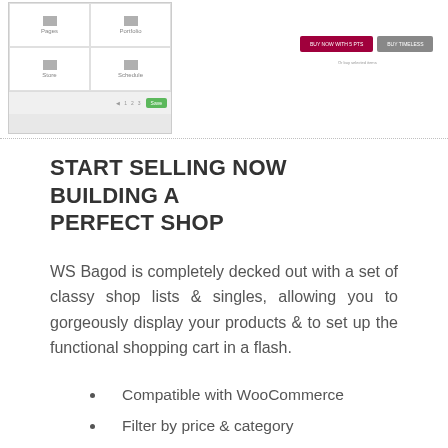[Figure (screenshot): Screenshot of a WooCommerce shop admin interface with a grid of icons, navigation buttons, and a green Save button on the left; red and gray call-to-action buttons on the right side.]
START SELLING NOW BUILDING A PERFECT SHOP
WS Bagod is completely decked out with a set of classy shop lists & singles, allowing you to gorgeously display your products & to set up the functional shopping cart in a flash.
Compatible with WooCommerce
Filter by price & category
Enable product rating & reviews